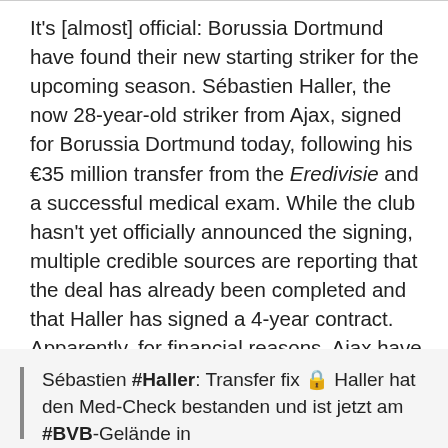It's [almost] official: Borussia Dortmund have found their new starting striker for the upcoming season. Sébastien Haller, the now 28-year-old striker from Ajax, signed for Borussia Dortmund today, following his €35 million transfer from the Eredivisie and a successful medical exam. While the club hasn't yet officially announced the signing, multiple credible sources are reporting that the deal has already been completed and that Haller has signed a 4-year contract. Apparently, for financial reasons, Ajax have requested that BVB wait until July to announce the move.
Sébastien #Haller: Transfer fix 🔒 Haller hat den Med-Check bestanden und ist jetzt am #BVB-Gelände in